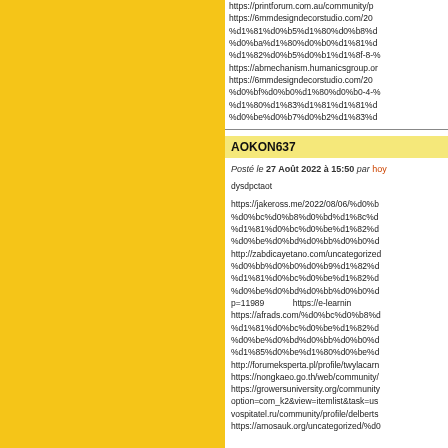https://printforum.com.au/community/p https://6mmdesigndecorstudio.com/20 %d1%81%d0%b5%d1%80%d0%b8%d %d0%ba%d1%80%d0%b0%d1%81%d %d1%82%d0%b5%d0%b1%d1%8f-8-% https://abmechanism.humanicsgroup.or https://6mmdesigndecorstudio.com/20 %d0%bf%d0%b0%d1%80%d0%b0-4-% %d1%80%d1%83%d1%81%d1%81%d %d0%be%d0%b7%d0%b2%d1%83%d
AOKON637
Posté le 27 Août 2022 à 15:50 par hoy
dysdpctaot
https://jakeross.me/2022/08/06/%d0%b %d0%bc%d0%b8%d0%bd%d1%8c%d %d1%81%d0%bc%d0%be%d1%82%d %d0%be%d0%bd%d0%bb%d0%b0%d http://zabdicayetano.com/uncategorized %d0%bb%d0%b0%d0%b9%d1%82%d %d1%81%d0%bc%d0%be%d1%82%d %d0%be%d0%bd%d0%bb%d0%b0%d p=11989 https://e-learning https://afrads.com/%d0%bc%d0%b8%d %d1%81%d0%bc%d0%be%d1%82%d %d0%be%d0%bd%d0%bb%d0%b0%d %d1%85%d0%be%d1%80%d0%be%d http://forumeksperta.pl/profile/twylacarn https://nongkaeo.go.th/web/community/ https://growersuniversity.org/community option=com_k2&view=itemlist&task=us vospitatel.ru/community/profile/delberts https://amosauk.org/uncategorized/%d0